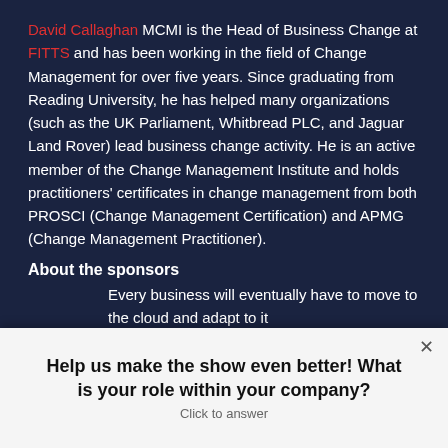David Callaghan MCMI is the Head of Business Change at FITTS and has been working in the field of Change Management for over five years. Since graduating from Reading University, he has helped many organizations (such as the UK Parliament, Whitbread PLC, and Jaguar Land Rover) lead business change activity. He is an active member of the Change Management Institute and holds practitioners' certificates in change management from both PROSCI (Change Management Certification) and APMG (Change Management Practitioner).
About the sponsors
Every business will eventually have to move to the cloud and adapt to it
Help us make the show even better! What is your role within your company? Click to answer